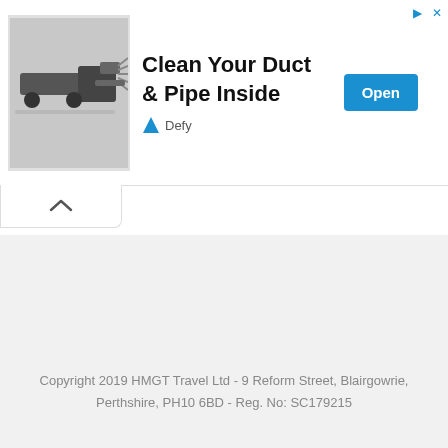[Figure (screenshot): Advertisement banner showing a duct and pipe cleaning machine photo with text 'Clean Your Duct & Pipe Inside', an 'Open' button, and the Defy brand logo.]
Copyright 2019 HMGT Travel Ltd - 9 Reform Street, Blairgowrie, Perthshire, PH10 6BD - Reg. No: SC179215